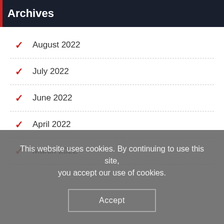Archives
August 2022
July 2022
June 2022
April 2022
March 2022
This website uses cookies. By continuing to use this site, you accept our use of cookies.
Accept